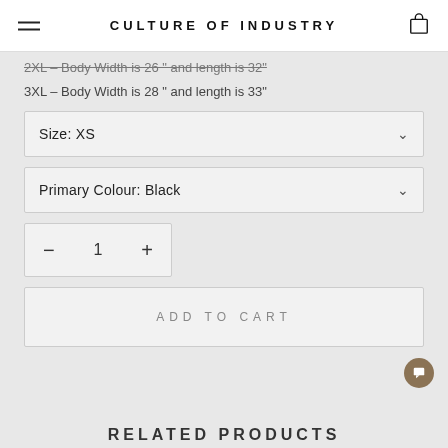CULTURE OF INDUSTRY
2XL – Body Width is 26" and length is 32"
3XL – Body Width is 28" and length is 33"
Size: XS
Primary Colour: Black
– 1 +
ADD TO CART
RELATED PRODUCTS